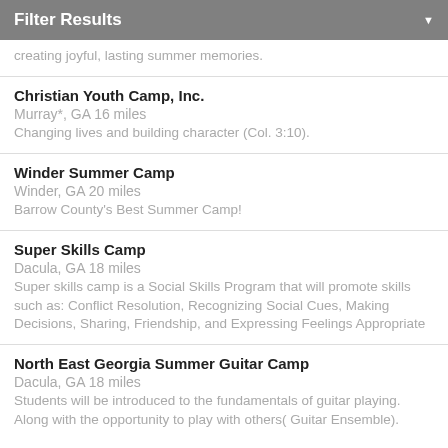Filter Results
creating joyful, lasting summer memories.
Christian Youth Camp, Inc.
Murray*, GA 16 miles
Changing lives and building character (Col. 3:10).
Winder Summer Camp
Winder, GA 20 miles
Barrow County's Best Summer Camp!
Super Skills Camp
Dacula, GA 18 miles
Super skills camp is a Social Skills Program that will promote skills such as: Conflict Resolution, Recognizing Social Cues, Making Decisions, Sharing, Friendship, and Expressing Feelings Appropriate
North East Georgia Summer Guitar Camp
Dacula, GA 18 miles
Students will be introduced to the fundamentals of guitar playing. Along with the opportunity to play with others( Guitar Ensemble).